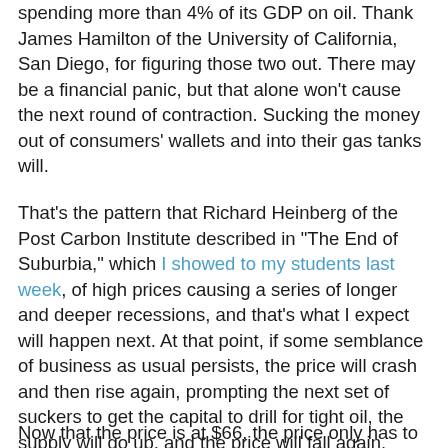spending more than 4% of its GDP on oil.  Thank James Hamilton of the University of California, San Diego, for figuring those two out.  There may be a financial panic, but that alone won't cause the next round of contraction.  Sucking the money out of consumers' wallets and into their gas tanks will.
That's the pattern that Richard Heinberg of the Post Carbon Institute described in "The End of Suburbia," which I showed to my students last week, of high prices causing a series of longer and deeper recessions, and that's what I expect will happen next.  At that point, if some semblance of business as usual persists, the price will crash and then rise again, prompting the next set of suckers to get the capital to drill for tight oil, the supply will go up, and the price will fall again.  Lather, rinse, repeat.  Of course, if the capital dries up and stays that way, the oil stays in the ground.
Now that the price is at $66, the price only has to rise to